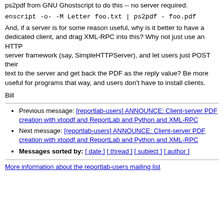ps2pdf from GNU Ghostscript to do this -- no server required.
enscript -o- -M Letter foo.txt | ps2pdf - foo.pdf
And, if a server is for some reason useful, why is it better to have a dedicated client, and drag XML-RPC into this? Why not just use an HTTP server framework (say, SimpleHTTPServer), and let users just POST their text to the server and get back the PDF as the reply value? Be more useful for programs that way, and users don't have to install clients.
Bill
Previous message: [reportlab-users] ANNOUNCE: Client-server PDF creation with xtopdf and ReportLab and Python and XML-RPC
Next message: [reportlab-users] ANNOUNCE: Client-server PDF creation with xtopdf and ReportLab and Python and XML-RPC
Messages sorted by: [ date ] [ thread ] [ subject ] [ author ]
More information about the reportlab-users mailing list